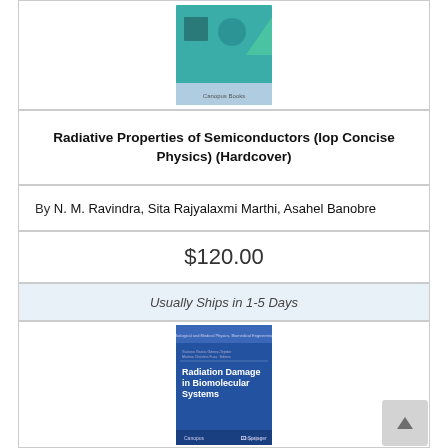[Figure (illustration): Book cover for Radiative Properties of Semiconductors (IOP Concise Physics), teal/blue cover with geometric shapes]
Radiative Properties of Semiconductors (Iop Concise Physics) (Hardcover)
By N. M. Ravindra, Sita Rajyalaxmi Marthi, Asahel Banobre
$120.00
Usually Ships in 1-5 Days
[Figure (illustration): Book cover for Radiation Damage in Biomolecular Systems, blue cover with white text]